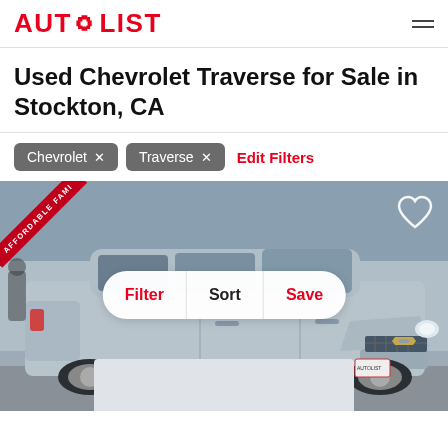AUTOLIST
Used Chevrolet Traverse for Sale in Stockton, CA
Chevrolet ×
Traverse ×
Edit Filters
[Figure (photo): Photo of a silver Chevrolet Traverse SUV parked, with an 'Affordable Family' diagonal red banner in the top-left corner, and Filter/Sort/Save action buttons overlaid in the center, and a heart icon in the top-right corner.]